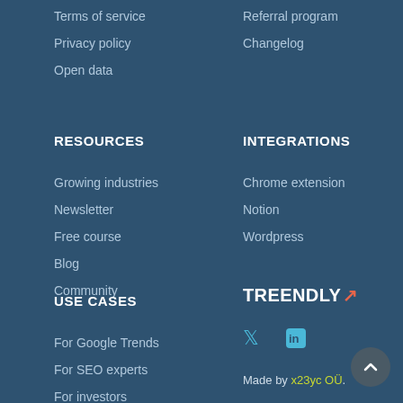Terms of service
Referral program
Privacy policy
Changelog
Open data
RESOURCES
INTEGRATIONS
Growing industries
Chrome extension
Newsletter
Notion
Free course
Wordpress
Blog
Community
USE CASES
[Figure (logo): Treendly logo with orange upward arrow]
For Google Trends
[Figure (illustration): Twitter and LinkedIn social media icons in teal/cyan color]
For SEO experts
Made by x23yc OÜ.
For investors